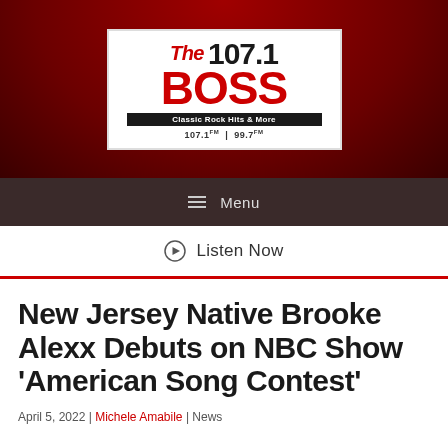[Figure (logo): The 107.1 BOSS Classic Rock Hits & More radio station logo, white box on dark red background, 107.1FM | 99.7FM]
≡ Menu
⊙ Listen Now
New Jersey Native Brooke Alexx Debuts on NBC Show 'American Song Contest'
April 5, 2022 | Michele Amabile | News